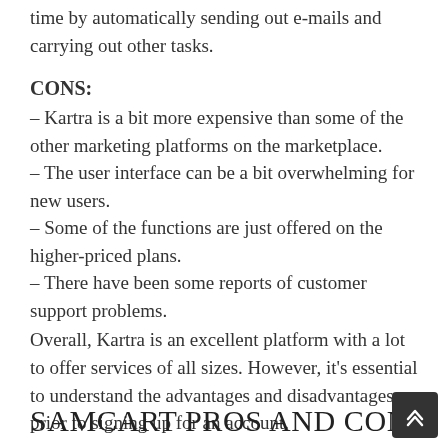time by automatically sending out e-mails and carrying out other tasks.
CONS:
– Kartra is a bit more expensive than some of the other marketing platforms on the marketplace.
– The user interface can be a bit overwhelming for new users.
– Some of the functions are just offered on the higher-priced plans.
– There have been some reports of customer support problems.
Overall, Kartra is an excellent platform with a lot to offer services of all sizes. However, it's essential to understand the advantages and disadvantages prior to signing up for an account.
SAMCART PROS AND CONS